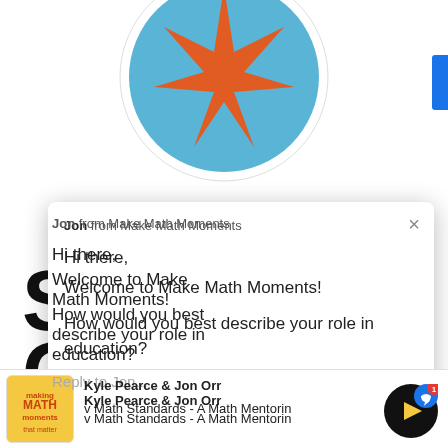[Figure (screenshot): Make Math Moments website with a chat popup from Jon asking about role in education, and a podcast bar at the bottom featuring Kyle Pearce & Jon Orr]
Jon from Make Math Moments
Hi there,
Welcome to Make Math Moments!
How would you best describe your role in education?
Reply to Jon...
Kyle Pearce & Jon Orr
v Math Standards - A Math Mentorin